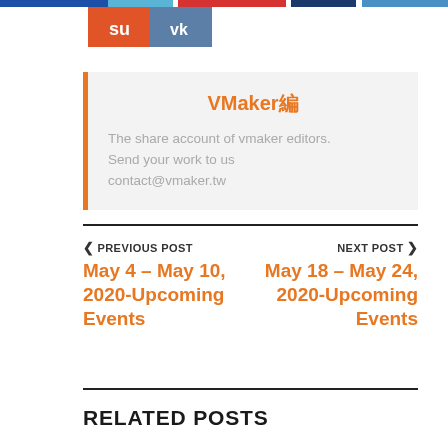[Figure (other): Social media share buttons strip at top: StumbleUpon (orange) and VK (steel blue) icons]
VMaker編
The share account of vmaker editors.
Send your work to us
contact@vmaker.tw
< PREVIOUS POST
May 4 – May 10, 2020-Upcoming Events
NEXT POST >
May 18 – May 24, 2020-Upcoming Events
RELATED POSTS